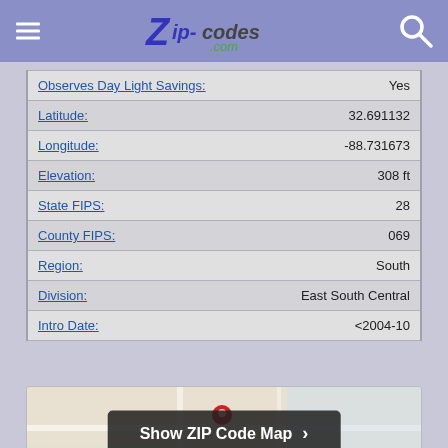Zip-Codes.com
| Field | Value |
| --- | --- |
| Observes Day Light Savings: | Yes |
| Latitude: | 32.691132 |
| Longitude: | -88.731673 |
| Elevation: | 308 ft |
| State FIPS: | 28 |
| County FIPS: | 069 |
| Region: | South |
| Division: | East South Central |
| Intro Date: | <2004-10 |
[Figure (map): Show ZIP Code Map button overlay on a map thumbnail]